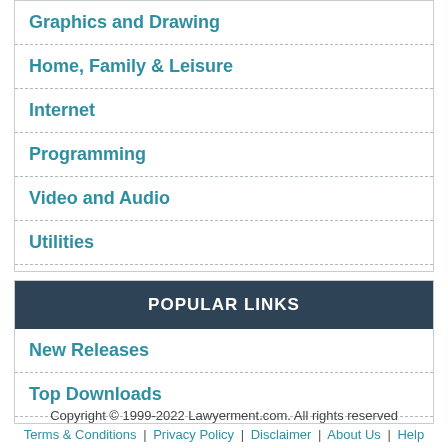Graphics and Drawing
Home, Family & Leisure
Internet
Programming
Video and Audio
Utilities
POPULAR LINKS
New Releases
Top Downloads
Copyright © 1999-2022 Lawyerment.com. All rights reserved
Terms & Conditions | Privacy Policy | Disclaimer | About Us | Help